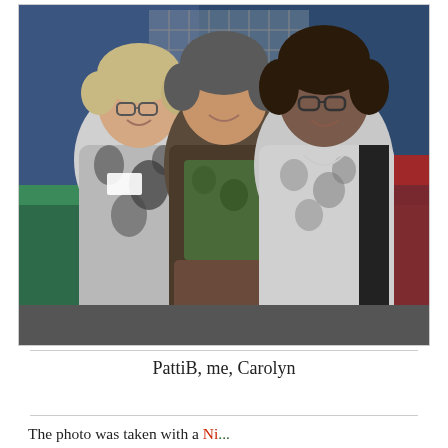[Figure (photo): Three women standing together and smiling at what appears to be a craft fair or exhibition. The woman on the left wears a black and grey patterned top and glasses. The woman in the middle wears a dark cardigan over a green patterned top and a brownish skirt. The woman on the right wears a grey patterned vest over a black top and glasses.]
PattiB, me, Carolyn
The photo was taken with a Ni... Co...